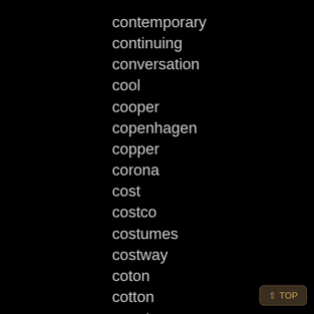contemporary
continuing
conversation
cool
cooper
copenhagen
copper
corona
cost
costco
costumes
costway
coton
cotton
count
country
courtyard